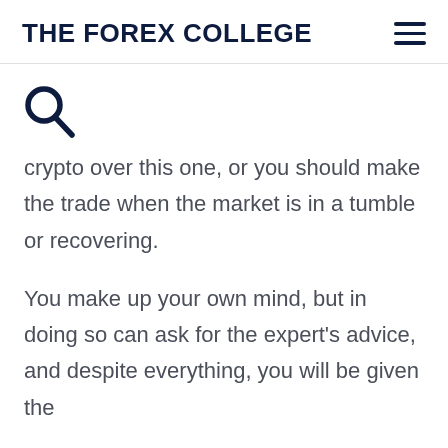THE FOREX COLLEGE
[Figure (other): Search icon (magnifying glass)]
crypto over this one, or you should make the trade when the market is in a tumble or recovering.
You make up your own mind, but in doing so can ask for the expert's advice, and despite everything, you will be given the